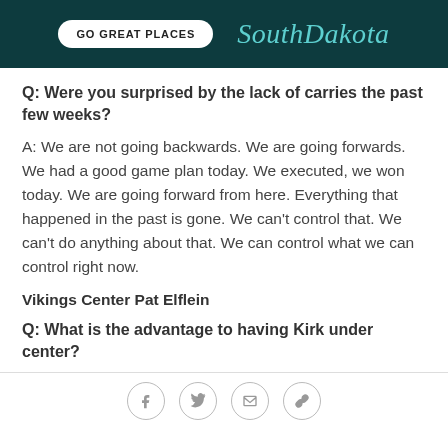[Figure (logo): South Dakota 'Go Great Places' advertisement banner with white rounded button and teal cursive South Dakota script logo on dark teal background]
Q: Were you surprised by the lack of carries the past few weeks?
A: We are not going backwards. We are going forwards. We had a good game plan today. We executed, we won today. We are going forward from here. Everything that happened in the past is gone. We can't control that. We can't do anything about that. We can control what we can control right now.
Vikings Center Pat Elflein
Q: What is the advantage to having Kirk under center?
Social share icons: Facebook, Twitter, Email, Link